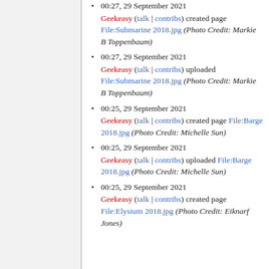00:27, 29 September 2021 Geekeasy (talk | contribs) created page File:Submarine 2018.jpg (Photo Credit: Markie B Toppenbaum)
00:27, 29 September 2021 Geekeasy (talk | contribs) uploaded File:Submarine 2018.jpg (Photo Credit: Markie B Toppenbaum)
00:25, 29 September 2021 Geekeasy (talk | contribs) created page File:Barge 2018.jpg (Photo Credit: Michelle Sun)
00:25, 29 September 2021 Geekeasy (talk | contribs) uploaded File:Barge 2018.jpg (Photo Credit: Michelle Sun)
00:25, 29 September 2021 Geekeasy (talk | contribs) created page File:Elysium 2018.jpg (Photo Credit: Eiknarf Jones)